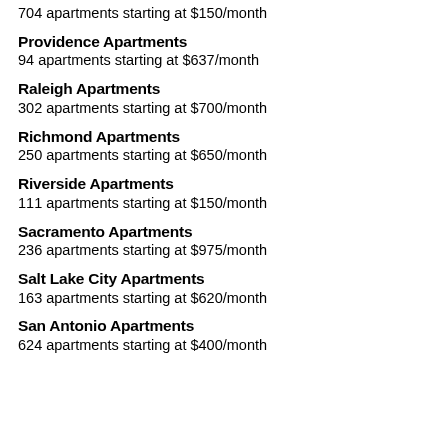704 apartments starting at $150/month
Providence Apartments
94 apartments starting at $637/month
Raleigh Apartments
302 apartments starting at $700/month
Richmond Apartments
250 apartments starting at $650/month
Riverside Apartments
111 apartments starting at $150/month
Sacramento Apartments
236 apartments starting at $975/month
Salt Lake City Apartments
163 apartments starting at $620/month
San Antonio Apartments
624 apartments starting at $400/month